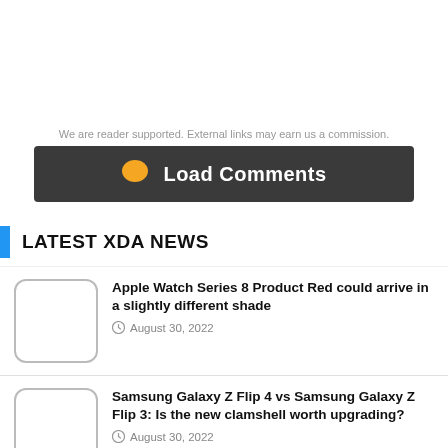We are reader supported. External links may earn us a commission.
[Figure (other): Load Comments button with orange chat bubble icon on dark background]
LATEST XDA NEWS
Apple Watch Series 8 Product Red could arrive in a slightly different shade — August 30, 2022
Samsung Galaxy Z Flip 4 vs Samsung Galaxy Z Flip 3: Is the new clamshell worth upgrading? — August 30, 2022
How to listen to lossless audio and Dolby Atmos on Apple HomePod and HomePod Mini — August 30, 2022